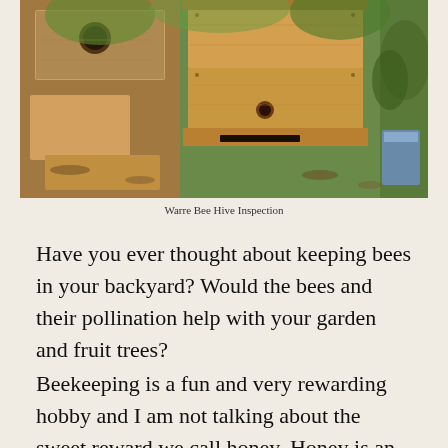[Figure (photo): A Warre bee hive inspection photo showing wooden hive boxes with a circular opening on the left side, a assembled hive in the center with a wooden entrance board and plug, and a green tree background with leaf litter on the ground. A blue container is visible on the right side.]
Warre Bee Hive Inspection
Have you ever thought about keeping bees in your backyard? Would the bees and their pollination help with your garden and fruit trees?
Beekeeping is a fun and very rewarding hobby and I am not talking about the sweet reward we call honey. Honey is an additional bonus when